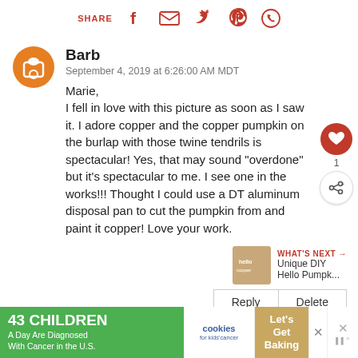SHARE [facebook] [email] [twitter] [pinterest] [whatsapp]
Barb
September 4, 2019 at 6:26:00 AM MDT

Marie,
I fell in love with this picture as soon as I saw it. I adore copper and the copper pumpkin on the burlap with those twine tendrils is spectacular! Yes, that may sound "overdone" but it's spectacular to me. I see one in the works!!! Thought I could use a DT aluminum disposal pan to cut the pumpkin from and paint it copper! Love your work.
[Figure (infographic): Ad banner: 43 CHILDREN A Day Are Diagnosed With Cancer in the U.S. / cookies for kids cancer / Let's Get Baking]